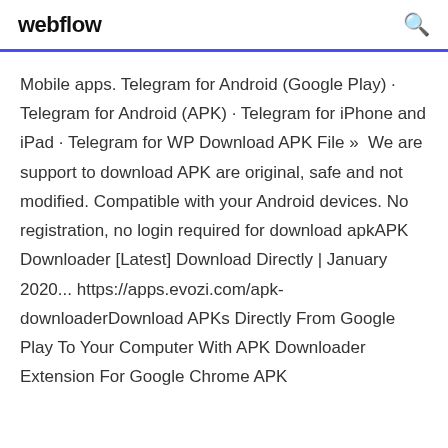webflow
Mobile apps. Telegram for Android (Google Play) · Telegram for Android (APK) · Telegram for iPhone and iPad · Telegram for WP Download APK File »  We are support to download APK are original, safe and not modified. Compatible with your Android devices. No registration, no login required for download apkAPK Downloader [Latest] Download Directly | January 2020... https://apps.evozi.com/apk-downloaderDownload APKs Directly From Google Play To Your Computer With APK Downloader Extension For Google Chrome APK